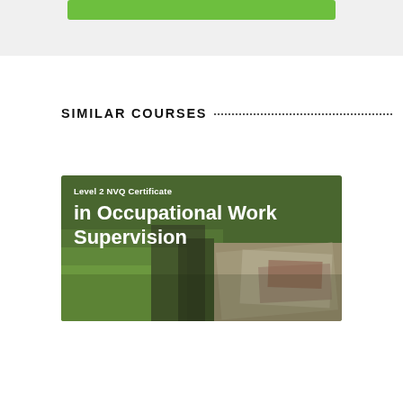[Figure (other): Top grey bar area with a green button/banner element at the top of the page]
SIMILAR COURSES
[Figure (photo): Course card image showing outdoor scene with papers/maps, overlaid with text: 'Level 2 NVQ Certificate in Occupational Work Supervision']